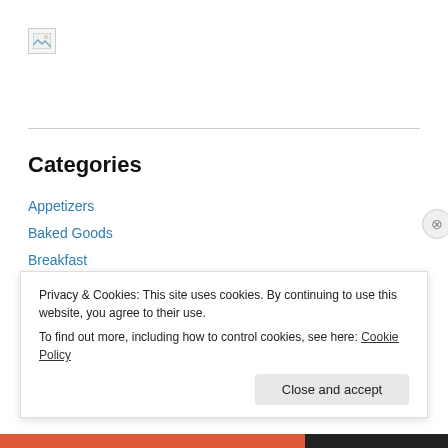[Figure (illustration): Broken/placeholder image icon in top left]
Categories
Appetizers
Baked Goods
Breakfast
Candy
Completed Knitting Projects
Completed Sewing Projects
Desserts
Privacy & Cookies: This site uses cookies. By continuing to use this website, you agree to their use.
To find out more, including how to control cookies, see here: Cookie Policy
Close and accept